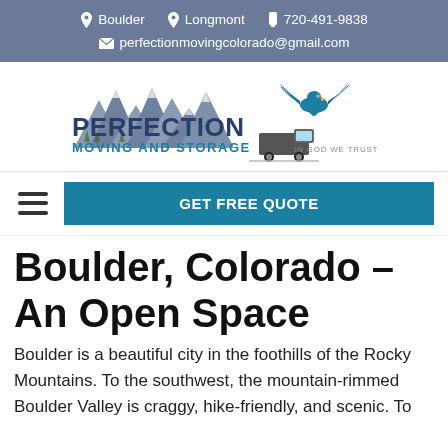Boulder   Longmont   720-491-9838   perfectionmovingcolorado@gmail.com
[Figure (logo): Perfection Moving and Storage logo with mountains and eagle, text reads PERFECTION MOVING AND STORAGE, IN GOD WE TRUST]
GET FREE QUOTE
Boulder, Colorado – An Open Space
Boulder is a beautiful city in the foothills of the Rocky Mountains. To the southwest, the mountain-rimmed Boulder Valley is craggy, hike-friendly, and scenic. To